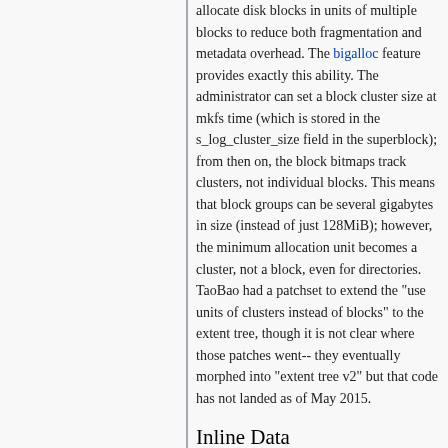allocate disk blocks in units of multiple blocks to reduce both fragmentation and metadata overhead. The bigalloc feature provides exactly this ability. The administrator can set a block cluster size at mkfs time (which is stored in the s_log_cluster_size field in the superblock); from then on, the block bitmaps track clusters, not individual blocks. This means that block groups can be several gigabytes in size (instead of just 128MiB); however, the minimum allocation unit becomes a cluster, not a block, even for directories. TaoBao had a patchset to extend the "use units of clusters instead of blocks" to the extent tree, though it is not clear where those patches went-- they eventually morphed into "extent tree v2" but that code has not landed as of May 2015.
Inline Data
The inline data feature was designed to handle the case that a file's data is so tiny that it readily fits inside the inode, which (theoretically) reduces disk block consumption